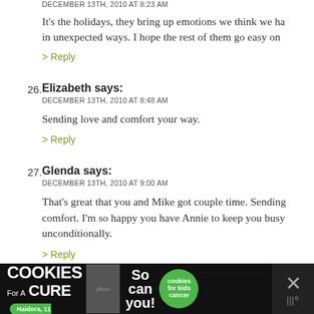DECEMBER 13TH, 2010 AT 8:23 AM
It's the holidays, they bring up emotions we think we ha... in unexpected ways. I hope the rest of them go easy on...
> Reply
26. Elizabeth says: DECEMBER 13TH, 2010 AT 8:48 AM
Sending love and comfort your way.
> Reply
27. Glenda says: DECEMBER 13TH, 2010 AT 9:00 AM
That's great that you and Mike got couple time. Sending... comfort. I'm so happy you have Annie to keep you busy... unconditionally.
> Reply
28. Nikki says:
[Figure (screenshot): Advertisement banner at bottom: I Bake COOKIES For A CURE with green cookie circles for kids cancer logo and close buttons]